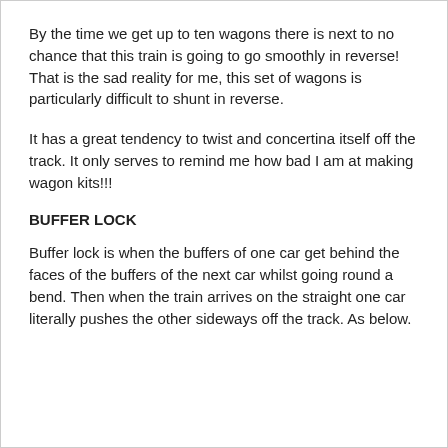By the time we get up to ten wagons there is next to no chance that this train is going to go smoothly in reverse! That is the sad reality for me, this set of wagons is particularly difficult to shunt in reverse.
It has a great tendency to twist and concertina itself off the track. It only serves to remind me how bad I am at making wagon kits!!!
BUFFER LOCK
Buffer lock is when the buffers of one car get behind the faces of the buffers of the next car whilst going round a bend. Then when the train arrives on the straight one car literally pushes the other sideways off the track. As below.